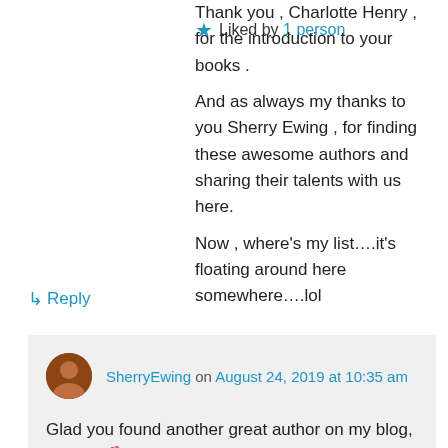Thank you , Charlotte Henry , for the introduction to your books .
And as always my thanks to you Sherry Ewing , for finding these awesome authors and sharing their talents with us here.
Now , where's my list….it's floating around here somewhere….lol
★ Liked by 1 person
↳ Reply
SherryEwing on August 24, 2019 at 10:35 am
Glad you found another great author on my blog, Cyndi! 💕
★ Like